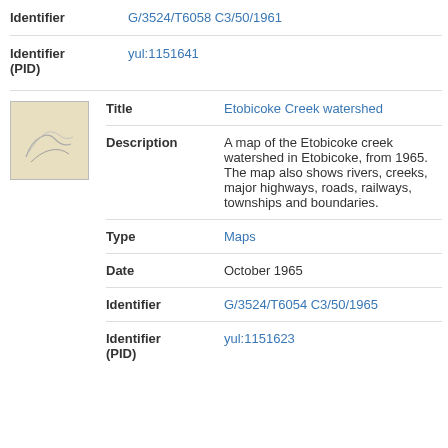| Identifier | G/3524/T6058 C3/50/1961 |
| Identifier (PID) | yul:1151641 |
| Title | Etobicoke Creek watershed |
| Description | A map of the Etobicoke creek watershed in Etobicoke, from 1965. The map also shows rivers, creeks, major highways, roads, railways, townships and boundaries. |
| Type | Maps |
| Date | October 1965 |
| Identifier | G/3524/T6054 C3/50/1965 |
| Identifier (PID) | yul:1151623 |